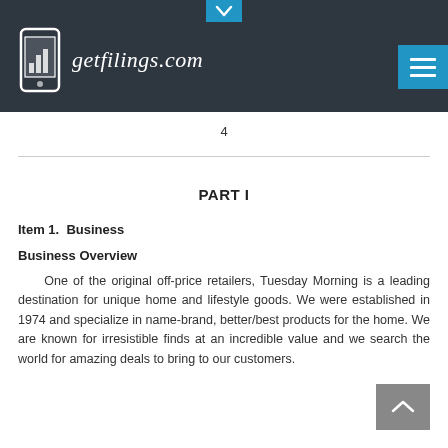getfilings.com
4
PART I
Item 1.  Business
Business Overview
One of the original off-price retailers, Tuesday Morning is a leading destination for unique home and lifestyle goods. We were established in 1974 and specialize in name-brand, better/best products for the home. We are known for irresistible finds at an incredible value and we search the world for amazing deals to bring to our customers.